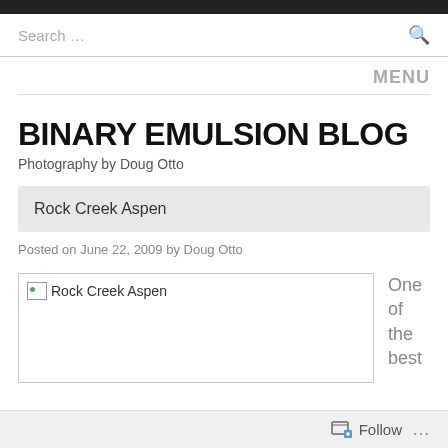Search ...
MENU
BINARY EMULSION BLOG
Photography by Doug Otto
Rock Creek Aspen
Posted on June 22, 2009 by Doug Otto
[Figure (photo): Broken image placeholder labeled 'Rock Creek Aspen']
One of the best
Follow ...